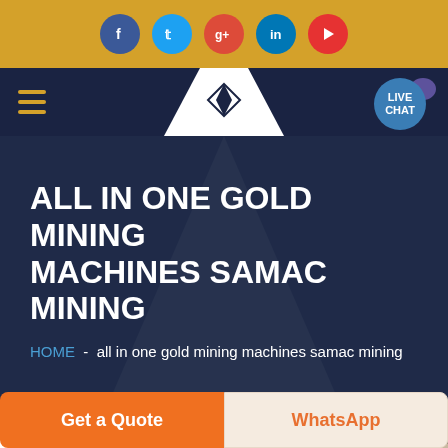Social media icons: Facebook, Twitter, Google+, LinkedIn, YouTube
[Figure (screenshot): Navigation bar with hamburger menu, SHM logo in white trapezoid, and Live Chat button]
ALL IN ONE GOLD MINING MACHINES SAMAC MINING
HOME - all in one gold mining machines samac mining
[Figure (photo): Partial view of industrial/mining facility interior]
Get a Quote
WhatsApp